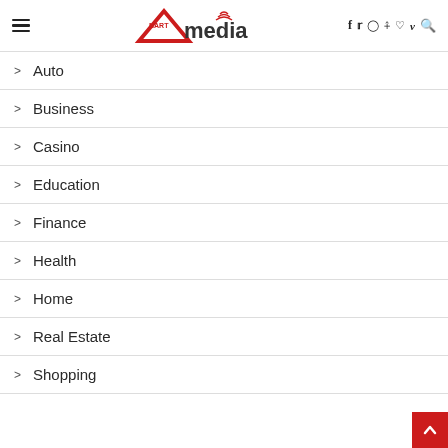NARTmedia navigation header with logo and social icons
> Auto
> Business
> Casino
> Education
> Finance
> Health
> Home
> Real Estate
> Shopping